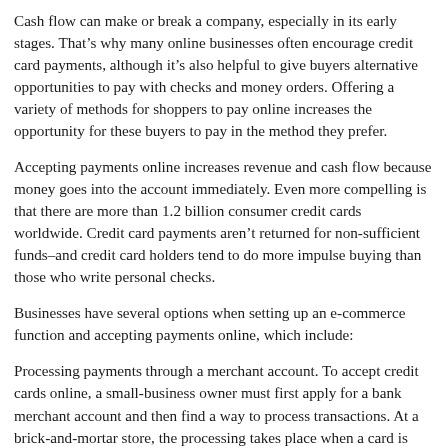Cash flow can make or break a company, especially in its early stages. That's why many online businesses often encourage credit card payments, although it's also helpful to give buyers alternative opportunities to pay with checks and money orders. Offering a variety of methods for shoppers to pay online increases the opportunity for these buyers to pay in the method they prefer.
Accepting payments online increases revenue and cash flow because money goes into the account immediately. Even more compelling is that there are more than 1.2 billion consumer credit cards worldwide. Credit card payments aren't returned for non-sufficient funds–and credit card holders tend to do more impulse buying than those who write personal checks.
Businesses have several options when setting up an e-commerce function and accepting payments online, which include:
Processing payments through a merchant account. To accept credit cards online, a small-business owner must first apply for a bank merchant account and then find a way to process transactions. At a brick-and-mortar store, the processing takes place when a card is swiped through the card reader. At an online store, the processing is done when a shopper types in the credit card information, which is then verified by a merchant account processor.